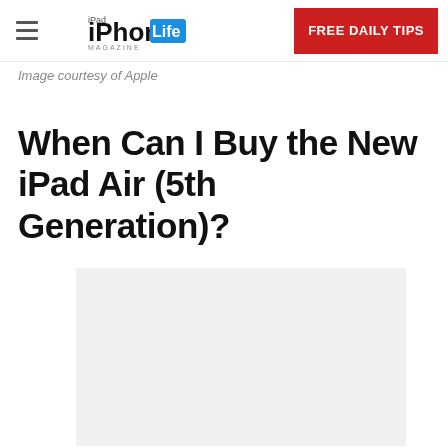iPhone Life Magazine | FREE DAILY TIPS
Image courtesy of Apple
When Can I Buy the New iPad Air (5th Generation)?
[Figure (other): Gray placeholder advertisement or image block]